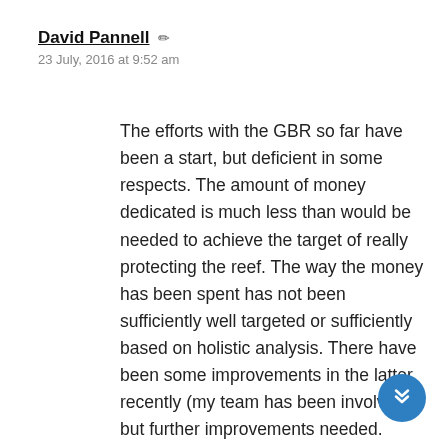David Pannell ✏
23 July, 2016 at 9:52 am
The efforts with the GBR so far have been a start, but deficient in some respects. The amount of money dedicated is much less than would be needed to achieve the target of really protecting the reef. The way the money has been spent has not been sufficiently well targeted or sufficiently based on holistic analysis. There have been some improvements in the latter recently (my team has been involved), but further improvements needed.
The Gippsland Lakes have not been nearly as well supported (financially) as the great New Zealand rivers well…